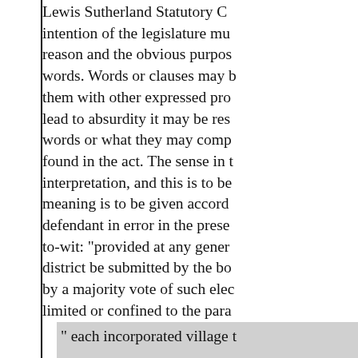Lewis Sutherland Statutory Construction intention of the legislature mu reason and the obvious purpos words. Words or clauses may them with other expressed pro lead to absurdity it may be res words or what they may comp found in the act. The sense in interpretation, and this is to be meaning is to be given accord defendant in error in the prese to-wit: "provided at any gener district be submitted by the bo by a majority vote of such ele limited or confined to the para
" each incorporated village
to it for school purposes, and purposes, with a tax valuation village school district." To this opinion that the position of thi it was the purpose, meaning a